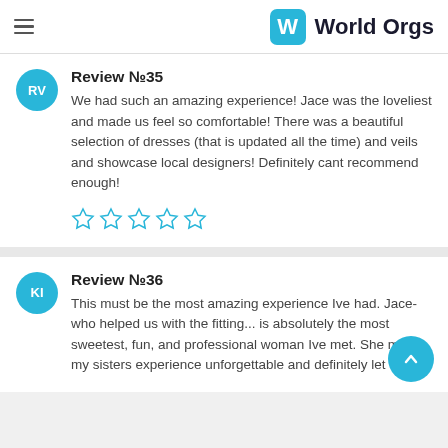World Orgs
Review №35
We had such an amazing experience! Jace was the loveliest and made us feel so comfortable! There was a beautiful selection of dresses (that is updated all the time) and veils and showcase local designers! Definitely cant recommend enough!
[Figure (other): Five empty star rating icons in cyan/blue outline]
Review №36
This must be the most amazing experience Ive had. Jace- who helped us with the fitting... is absolutely the most sweetest, fun, and professional woman Ive met. She made my sisters experience unforgettable and definitely let